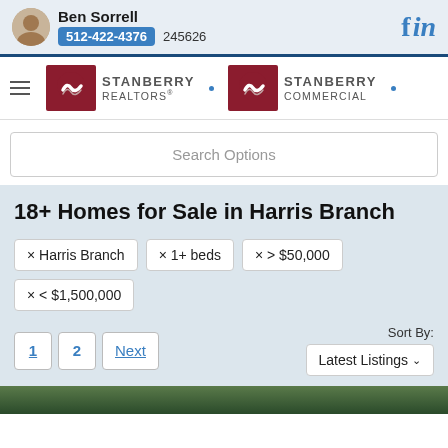Ben Sorrell 512-422-4376 245626
[Figure (logo): Stanberry Realtors logo and Stanberry Commercial logo]
Search Options
18+ Homes for Sale in Harris Branch
× Harris Branch
× 1+ beds
× > $50,000
× < $1,500,000
Sort By: Latest Listings
1  2  Next